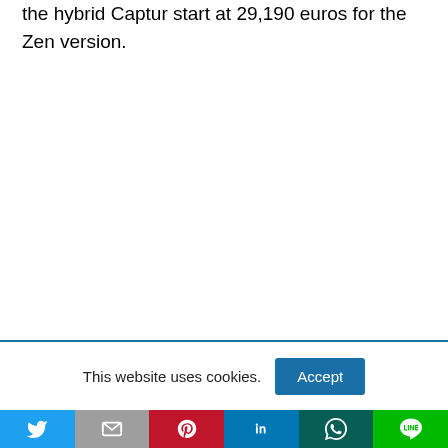the hybrid Captur start at 29,190 euros for the Zen version.
This website uses cookies.
[Figure (other): Social sharing bar with Twitter, Email, Pinterest, LinkedIn, WhatsApp, and LINE buttons]